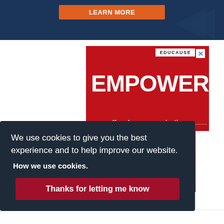[Figure (screenshot): Dark blue banner at top with an orange button and arrow decoration]
[Figure (infographic): EDUCAUSE advertisement with red gradient background. Large white text reads EMPOWER yourself and your organization. Subtext: The community, tools, and resources you need to achieve your mission. White EDUCAUSE logo in top right. Close X button.]
We use cookies to give you the best experience and to help improve our website.
How we use cookies.
Thanks for letting me know